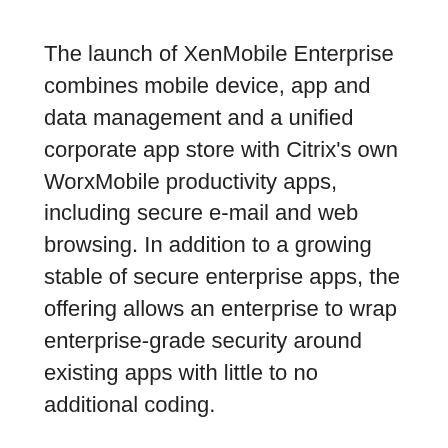The launch of XenMobile Enterprise combines mobile device, app and data management and a unified corporate app store with Citrix's own WorxMobile productivity apps, including secure e-mail and web browsing. In addition to a growing stable of secure enterprise apps, the offering allows an enterprise to wrap enterprise-grade security around existing apps with little to no additional coding.
Also new is support for Microsoft SharePoint and network drives in Citrix ShareFile, which provides a common, and secure IT-managed platform for cross-enterprise file sharing and content management.
“Cloud services is really the next generation IT infrastructure you need to have to make mobile